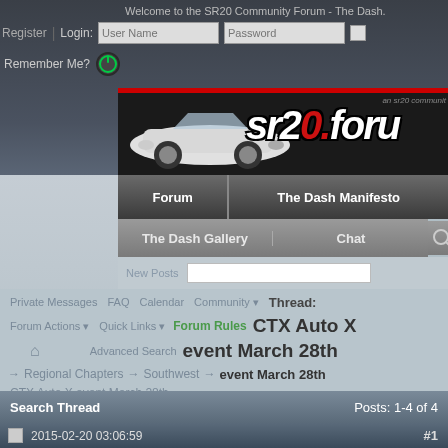Welcome to the SR20 Community Forum - The Dash.
Register | Login: User Name  Password  Remember Me?
[Figure (screenshot): SR20 Forum logo with white car silhouette and sr20.forum text with red dot]
Forum | The Dash Manifesto | The Dash Gallery | Chat
New Posts | Private Messages  FAQ  Calendar  Community  Forum Actions  Quick Links  Forum Rules
Thread: CTX Auto X event March 28th
→  Regional Chapters  →  Southwest  →  event March 28th
CTX Auto X event March 28th
+ Reply To Thread
Search Thread    Posts: 1-4 of 4
2015-02-20 03:06:59    #1